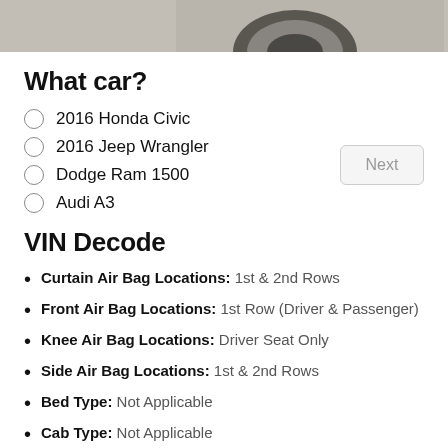[Figure (photo): Partial photo of a car wheel/tire on a gray surface, cropped at the top of the page]
What car?
2016 Honda Civic
2016 Jeep Wrangler
Dodge Ram 1500
Audi A3
VIN Decode
Curtain Air Bag Locations: 1st & 2nd Rows
Front Air Bag Locations: 1st Row (Driver & Passenger)
Knee Air Bag Locations: Driver Seat Only
Side Air Bag Locations: 1st & 2nd Rows
Bed Type: Not Applicable
Cab Type: Not Applicable
Bus Floor Configuration Type: Not Applicable